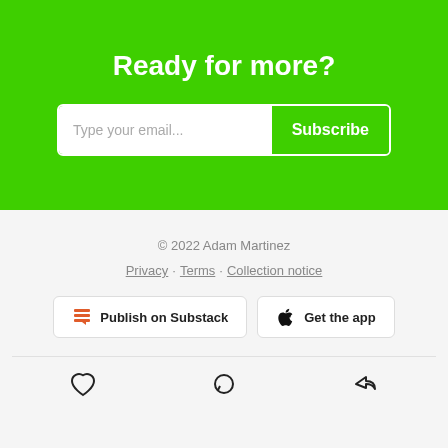Ready for more?
Type your email... Subscribe
© 2022 Adam Martinez
Privacy · Terms · Collection notice
Publish on Substack
Get the app